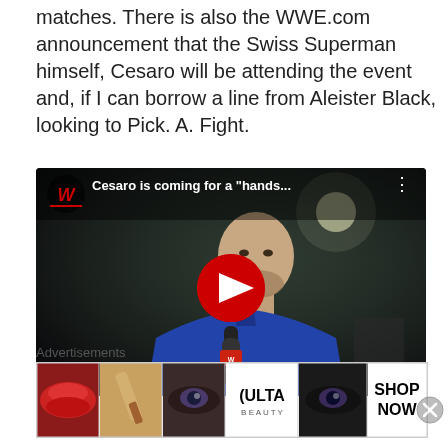matches. There is also the WWE.com announcement that the Swiss Superman himself, Cesaro will be attending the event and, if I can borrow a line from Aleister Black, looking to Pick. A. Fight.
[Figure (screenshot): YouTube video thumbnail showing Cesaro (bald man in blue polo shirt) being interviewed with a WWE microphone. Video title reads 'Cesaro is coming for a "hands...' with WWE logo in top left and play button in center.]
Advertisements
[Figure (infographic): Ulta Beauty advertisement strip showing makeup imagery (lips, brush, eyes) with Ulta logo and 'SHOP NOW' call to action.]